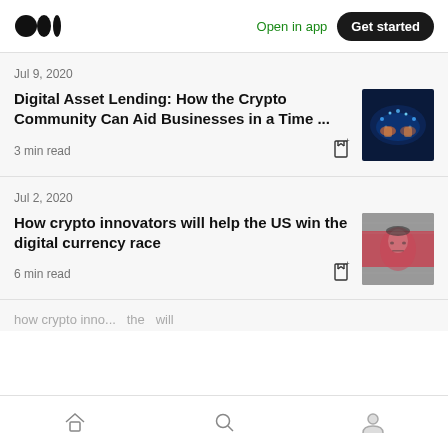Medium app header with logo, Open in app, Get started
Jul 9, 2020
Digital Asset Lending: How the Crypto Community Can Aid Businesses in a Time ...
3 min read
[Figure (photo): Glowing blue digital handshake illustration on dark background]
Jul 2, 2020
How crypto innovators will help the US win the digital currency race
6 min read
[Figure (photo): Close-up of a Chinese yuan banknote with a face partially visible]
Bottom navigation bar with home, search, and profile icons